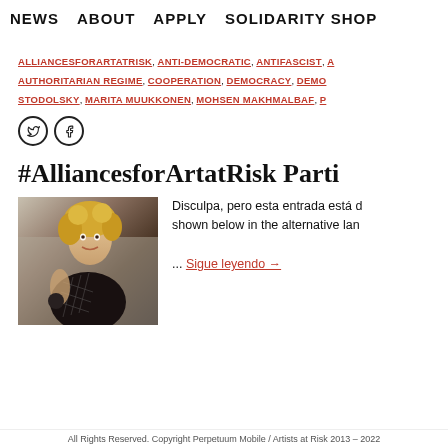NEWS   ABOUT   APPLY   SOLIDARITY SHOP
ALLIANCESFORARTATRISK, ANTI-DEMOCRATIC, ANTIFASCIST, A AUTHORITARIAN REGIME, COOPERATION, DEMOCRACY, DEMO STODOLSKY, MARITA MUUKKONEN, MOHSEN MAKHMALBAF, P
[Figure (other): Twitter and Facebook social media icons]
#AlliancesforArtatRisk Parti
[Figure (photo): A person with curly blonde hair taking a selfie, wearing dark clothing and fishnet accessories]
Disculpa, pero esta entrada está d shown below in the alternative lan ... Sigue leyendo →
All Rights Reserved. Copyright Perpetuum Mobile / Artists at Risk 2013 - 2022